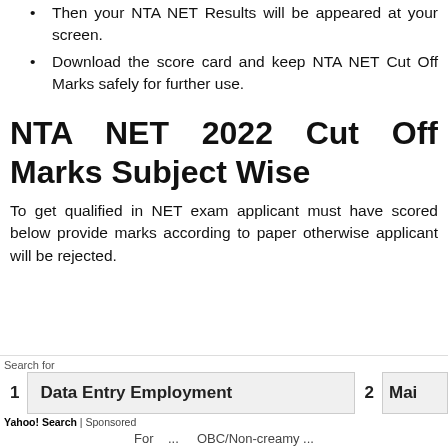Then your NTA NET Results will be appeared at your screen.
Download the score card and keep NTA NET Cut Off Marks safely for further use.
NTA NET 2022 Cut Off Marks Subject Wise
To get qualified in NET exam applicant must have scored below provide marks according to paper otherwise applicant will be rejected.
Search for
1   Data Entry Employment   2   Mai
Yahoo! Search | Sponsored
For ... OBC/Non-creamy ...